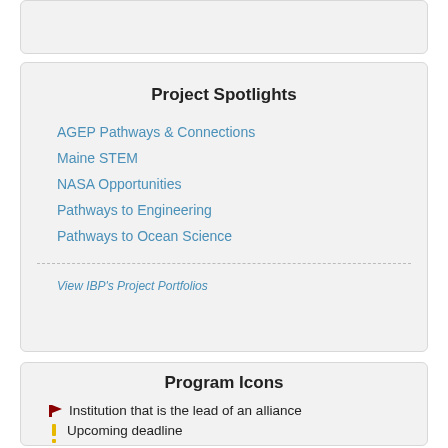Project Spotlights
AGEP Pathways & Connections
Maine STEM
NASA Opportunities
Pathways to Engineering
Pathways to Ocean Science
View IBP's Project Portfolios
Program Icons
Institution that is the lead of an alliance
Upcoming deadline
Program includes a study abroad component